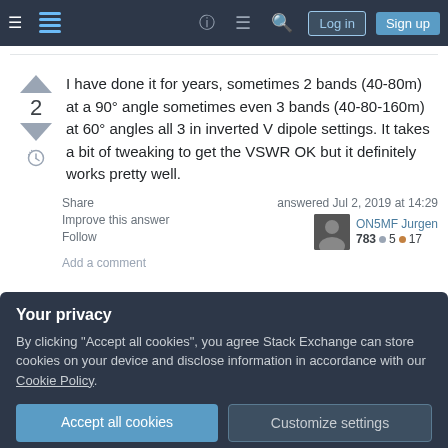Stack Exchange navigation bar with Log in and Sign up buttons
I have done it for years, sometimes 2 bands (40-80m) at a 90° angle sometimes even 3 bands (40-80-160m) at 60° angles all 3 in inverted V dipole settings. It takes a bit of tweaking to get the VSWR OK but it definitely works pretty well.
Share
Improve this answer
Follow
answered Jul 2, 2019 at 14:29
ON5MF Jurgen
783 ●5 ●17
Add a comment
Your privacy
By clicking "Accept all cookies", you agree Stack Exchange can store cookies on your device and disclose information in accordance with our Cookie Policy.
Accept all cookies
Customize settings